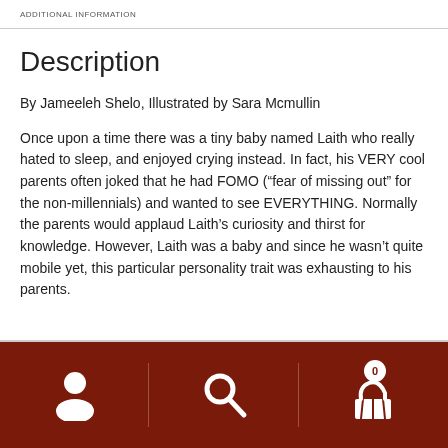ADDITIONAL INFORMATION
Description
By Jameeleh Shelo, Illustrated by Sara Mcmullin
Once upon a time there was a tiny baby named Laith who really hated to sleep, and enjoyed crying instead. In fact, his VERY cool parents often joked that he had FOMO (“fear of missing out” for the non-millennials) and wanted to see EVERYTHING. Normally the parents would applaud Laith’s curiosity and thirst for knowledge. However, Laith was a baby and since he wasn’t quite mobile yet, this particular personality trait was exhausting to his parents.
Navigation bar with user, search, and cart (0) icons